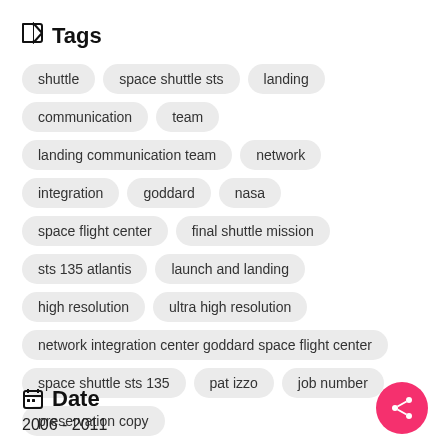Tags
shuttle
space shuttle sts
landing
communication
team
landing communication team
network
integration
goddard
nasa
space flight center
final shuttle mission
sts 135 atlantis
launch and landing
high resolution
ultra high resolution
network integration center goddard space flight center
space shuttle sts 135
pat izzo
job number
preservation copy
Date
2006 - 2011